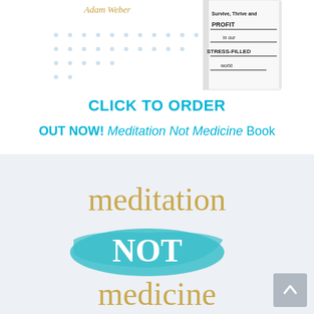[Figure (illustration): Partial book cover image showing 'Adam Weber' author name and a book about surviving and thriving in a stress-filled world, with dotted pattern background]
CLICK TO ORDER
OUT NOW! Meditation Not Medicine Book
[Figure (logo): Meditation Not Medicine logo: 'meditation' in gold serif font, 'NOT' in white on teal brushstroke, 'medicine' in gold serif font, on light grey-blue background]